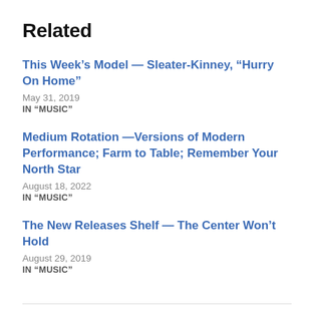Related
This Week’s Model — Sleater-Kinney, “Hurry On Home”
May 31, 2019
IN “MUSIC”
Medium Rotation —Versions of Modern Performance; Farm to Table; Remember Your North Star
August 18, 2022
IN “MUSIC”
The New Releases Shelf — The Center Won’t Hold
August 29, 2019
IN “MUSIC”